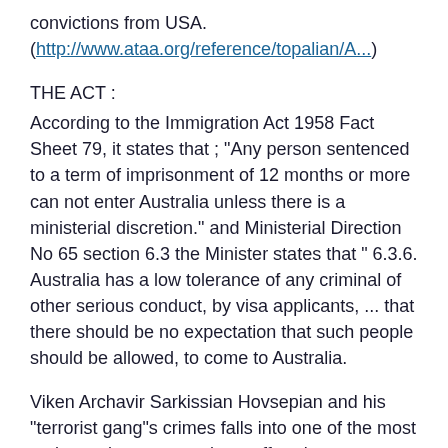convictions from USA.
(http://www.ataa.org/reference/topalian/A...)
THE ACT :
According to the Immigration Act 1958 Fact Sheet 79, it states that ; "Any person sentenced to a term of imprisonment of 12 months or more can not enter Australia unless there is a ministerial discretion." and Ministerial Direction No 65 section 6.3 the Minister states that " 6.3.6. Australia has a low tolerance of any criminal of other serious conduct, by visa applicants, ... that there should be no expectation that such people should be allowed, to come to Australia.
Viken Archavir Sarkissian Hovsepian and his "terrorist gang"s crimes falls into one of the most serious crimes our society suffered on 17.12.1980 when Turkish Consul General and his aide were